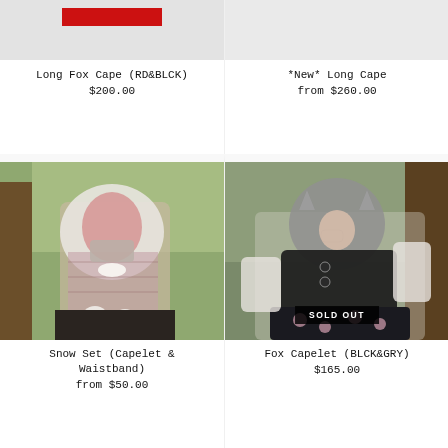[Figure (photo): Top portion of Long Fox Cape (RD&BLCK) product photo, cropped, showing gray background with red badge/label visible]
Long Fox Cape (RD&BLCK)
$200.00
[Figure (photo): Top portion of *New* Long Cape product photo, cropped, showing light gray background]
*New* Long Cape
from $260.00
[Figure (photo): Woman wearing Snow Set (Capelet & Waistband): white furry hood with cat ears, plaid capelet, white bow, fluffy pom poms, black skirt, standing near a tree outdoors]
Snow Set (Capelet & Waistband)
from $50.00
[Figure (photo): Woman wearing Fox Capelet (BLCK&GRY): black and gray furry hood with cat/fox ears, black capelet with buttons, floral skirt, white blouse, glasses, standing near a tree. SOLD OUT badge visible.]
Fox Capelet (BLCK&GRY)
$165.00